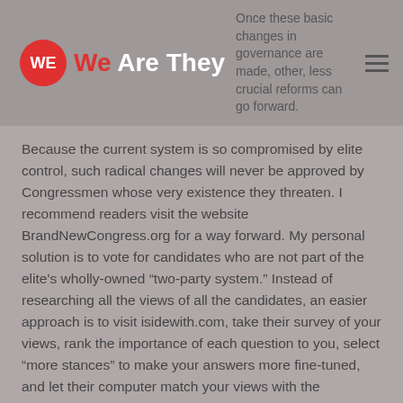We Are They | Once these basic changes in governance are made, other, less crucial reforms can go forward.
Because the current system is so compromised by elite control, such radical changes will never be approved by Congressmen whose very existence they threaten. I recommend readers visit the website BrandNewCongress.org for a way forward. My personal solution is to vote for candidates who are not part of the elite's wholly-owned “two-party system.” Instead of researching all the views of all the candidates, an easier approach is to visit isidewith.com, take their survey of your views, rank the importance of each question to you, select “more stances” to make your answers more fine-tuned, and let their computer match your views with the candidates in their database. (For President, five!) My match was 95% with the Green Party’s